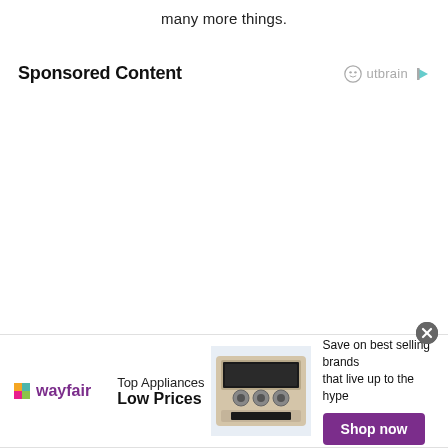many more things.
Sponsored Content
[Figure (logo): Outbrain logo with circular face icon and play button arrow]
[Figure (infographic): Wayfair advertisement banner: Top Appliances Low Prices, image of stove/range appliance, Save on best selling brands that live up to the hype, Shop now button]